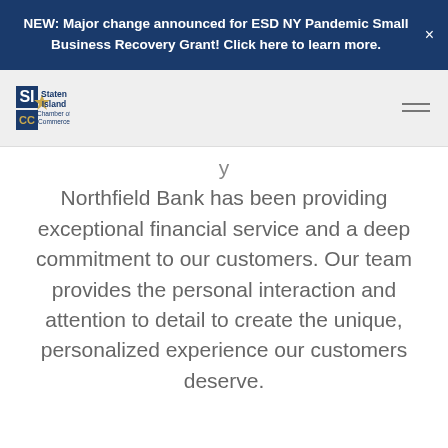NEW: Major change announced for ESD NY Pandemic Small Business Recovery Grant! Click here to learn more.
[Figure (logo): Staten Island Chamber of Commerce logo with SICC initials and gold star emblem]
Northfield Bank has been providing exceptional financial service and a deep commitment to our customers. Our team provides the personal interaction and attention to detail to create the unique, personalized experience our customers deserve.